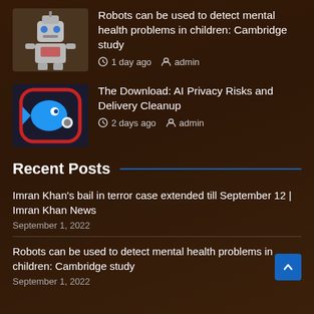[Figure (screenshot): Background image of a woman with long hair, overlaid with dark brown/amber tint]
Robots can be used to detect mental health problems in children: Cambridge study | 1 day ago | admin
The Download: AI Privacy Risks and Delivery Cleanup | 2 days ago | admin
Recent Posts
Imran Khan's bail in terror case extended till September 12 | Imran Khan News
September 1, 2022
Robots can be used to detect mental health problems in children: Cambridge study
September 1, 2022